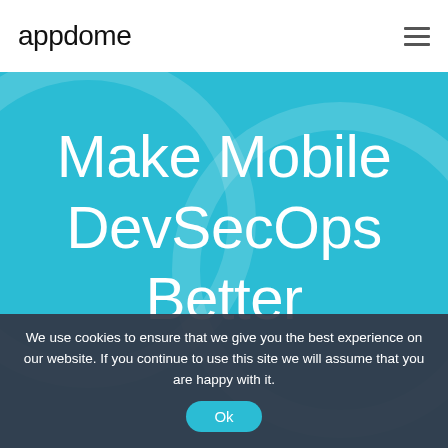appdome
Make Mobile DevSecOps Better
We use cookies to ensure that we give you the best experience on our website. If you continue to use this site we will assume that you are happy with it.
Ok